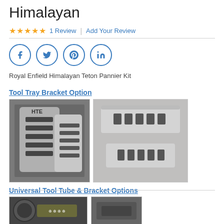Himalayan
★★★★★  1 Review  |  Add Your Review
[Figure (illustration): Social media share icons: Facebook, Twitter, Pinterest, LinkedIn in circular blue outlines]
Royal Enfield Himalayan Teton Pannier Kit
Tool Tray Bracket Option
[Figure (photo): Photo of metal tool tray bracket with HTE branding and slots]
[Figure (photo): Photo of two flat metal bracket pieces with slots on grey background]
Universal Tool Tube & Bracket Options
[Figure (photo): Partial photo of a cylindrical tool tube accessory]
[Figure (photo): Partial photo of another bracket accessory]